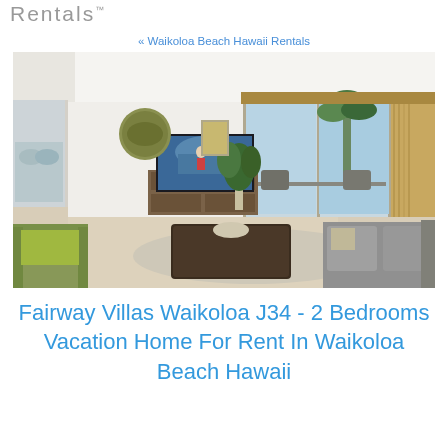Rentals.
« Waikoloa Beach Hawaii Rentals
[Figure (photo): Interior photo of a bright vacation home living room with light gray walls, a flat-screen TV on a wooden dresser, surfing-themed wall art, a green throw on a sofa, a dark wood coffee table, gray armchairs, tropical plants, and sliding glass doors opening to a balcony with palm trees visible outside.]
Fairway Villas Waikoloa J34 - 2 Bedrooms Vacation Home For Rent In Waikoloa Beach Hawaii